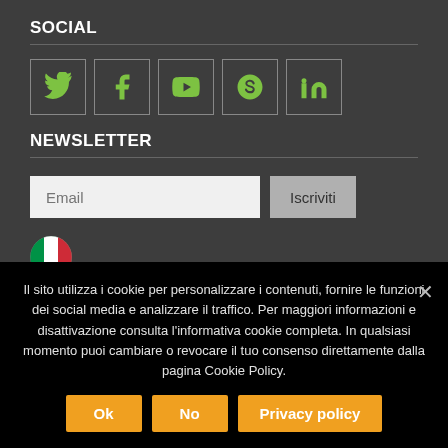SOCIAL
[Figure (infographic): Row of 5 social media icons (Twitter, Facebook, YouTube, Skype, LinkedIn) in green on dark bordered boxes]
NEWSLETTER
Email input field and Iscriviti button
[Figure (illustration): Italian flag circle icon]
[Figure (illustration): UK flag circle icon (partially visible)]
Il sito utilizza i cookie per personalizzare i contenuti, fornire le funzioni dei social media e analizzare il traffico. Per maggiori informazioni e disattivazione consulta l'informativa cookie completa. In qualsiasi momento puoi cambiare o revocare il tuo consenso direttamente dalla pagina Cookie Policy.
Ok
No
Privacy policy